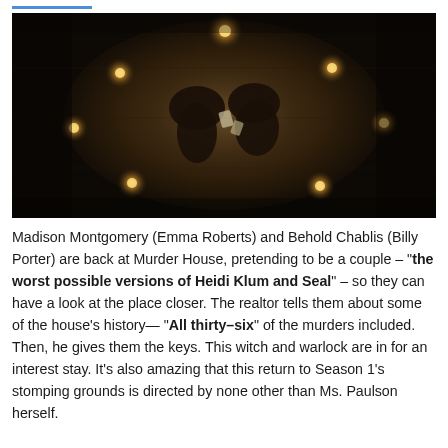[Figure (photo): Aerial/overhead dark photograph of two people lying on a wooden floor surrounded by several small glowing candles arranged around them. The scene is dramatically lit with warm amber candlelight against a very dark background.]
Madison Montgomery (Emma Roberts) and Behold Chablis (Billy Porter) are back at Murder House, pretending to be a couple – "the worst possible versions of Heidi Klum and Seal" – so they can have a look at the place closer. The realtor tells them about some of the house's history— "All thirty–six" of the murders included. Then, he gives them the keys. This witch and warlock are in for an interest stay. It's also amazing that this return to Season 1's stomping grounds is directed by none other than Ms. Paulson herself.